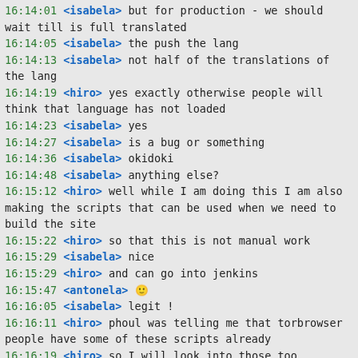16:14:01 <isabela> but for production - we should wait till is full translated
16:14:05 <isabela> the push the lang
16:14:13 <isabela> not half of the translations of the lang
16:14:19 <hiro> yes exactly otherwise people will think that language has not loaded
16:14:23 <isabela> yes
16:14:27 <isabela> is a bug or something
16:14:36 <isabela> okidoki
16:14:48 <isabela> anything else?
16:15:12 <hiro> well while I am doing this I am also making the scripts that can be used when we need to build the site
16:15:22 <hiro> so that this is not manual work
16:15:29 <isabela> nice
16:15:29 <hiro> and can go into jenkins
16:15:47 <antonela> 🙂
16:16:05 <isabela> legit !
16:16:11 <hiro> phoul was telling me that torbrowser people have some of these scripts already
16:16:19 <hiro> so I will look into those too
16:16:49 * Samdney lurks
16:17:00 <hiro> hello samdney
16:17:09 <Samdney> :)
16:17:24 <hiro> I think that's it
16:17:38 <isabela> hiro: one thing that the torproject.org page will need is when i set my page lang to pt and click download the lang package is pt already